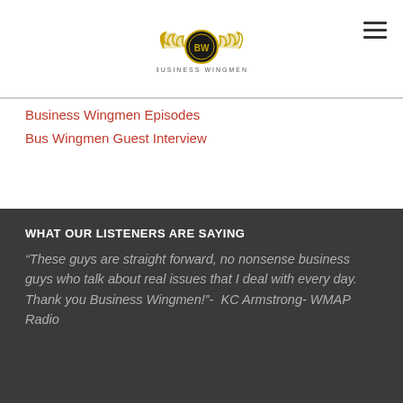[Figure (logo): Business Wingmen logo with eagle wings and circular emblem with 'BW' initials, text 'BUSINESS WINGMEN' below]
Business Wingmen Episodes
Bus Wingmen Guest Interview
WHAT OUR LISTENERS ARE SAYING
"These guys are straight forward, no nonsense business guys who talk about real issues that I deal with every day.  Thank you Business Wingmen!"-  KC Armstrong- WMAP Radio